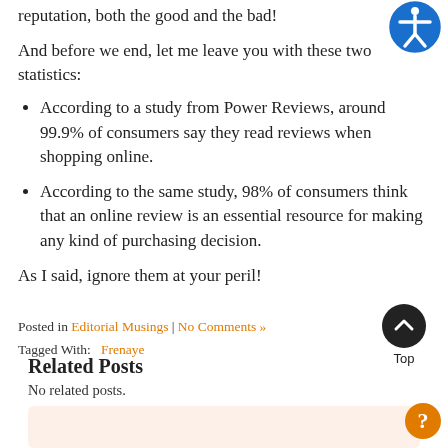reputation, both the good and the bad!
And before we end, let me leave you with these two statistics:
According to a study from Power Reviews, around 99.9% of consumers say they read reviews when shopping online.
According to the same study, 98% of consumers think that an online review is an essential resource for making any kind of purchasing decision.
As I said, ignore them at your peril!
Posted in Editorial Musings | No Comments »
Tagged With: Frenaye
Related Posts
No related posts.